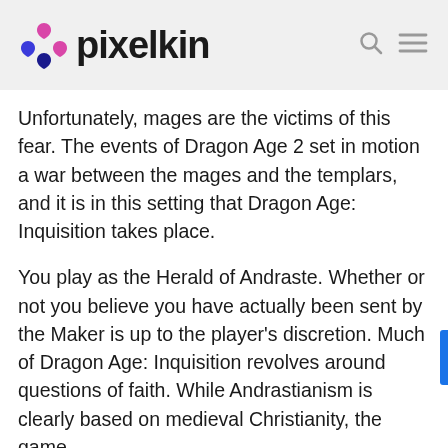pixelkin
Unfortunately, mages are the victims of this fear. The events of Dragon Age 2 set in motion a war between the mages and the templars, and it is in this setting that Dragon Age: Inquisition takes place.
You play as the Herald of Andraste. Whether or not you believe you have actually been sent by the Maker is up to the player's discretion. Much of Dragon Age: Inquisition revolves around questions of faith. While Andrastianism is clearly based on medieval Christianity, the game